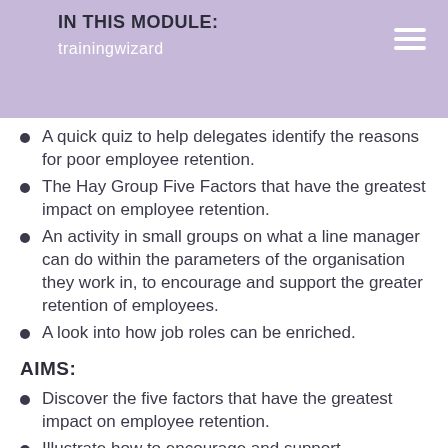IN THIS MODULE:
trainingwizard
A quick quiz to help delegates identify the reasons for poor employee retention.
The Hay Group Five Factors that have the greatest impact on employee retention.
An activity in small groups on what a line manager can do within the parameters of the organisation they work in, to encourage and support the greater retention of employees.
A look into how job roles can be enriched.
AIMS:
Discover the five factors that have the greatest impact on employee retention.
Illustrate how to encourage and support